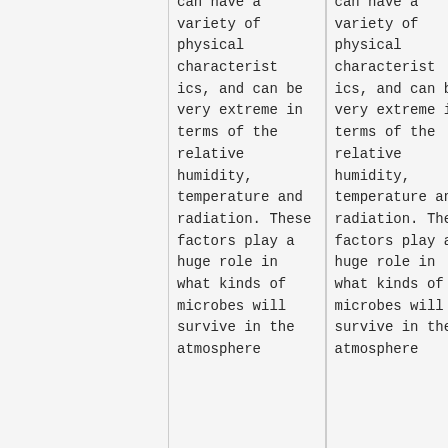can have a variety of physical characteristics, and can be very extreme in terms of the relative humidity, temperature and radiation. These factors play a huge role in what kinds of microbes will survive in the atmosphere
can have a variety of physical characteristics, and can be very extreme in terms of the relative humidity, temperature and radiation. These factors play a huge role in what kinds of microbes will survive in the atmosphere